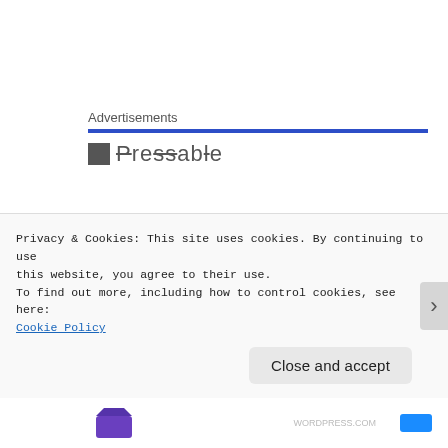Advertisements
[Figure (logo): Pressable logo with icon and text 'Pressable']
I could sit on my couch all day and assess all the parts of my body that don't feel the same anymore, and may never feel quite the same again.  I will surely do EVERYTHING IN MY POWER to find my healthiest self again and to stay active.  However,  no matter how I feel,  I
Privacy & Cookies: This site uses cookies. By continuing to use this website, you agree to their use.
To find out more, including how to control cookies, see here: Cookie Policy
Close and accept